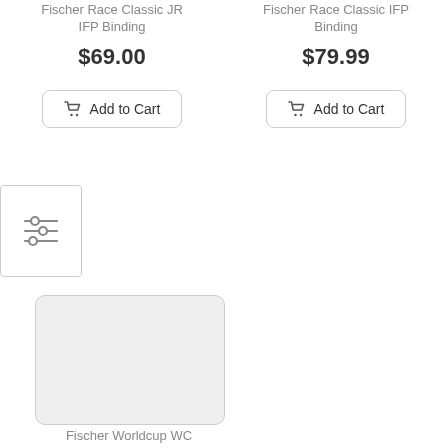Fischer Race Classic JR IFP Binding
$69.00
Add to Cart
Fischer Race Classic IFP Binding
$79.99
Add to Cart
[Figure (other): Filter/settings icon with three horizontal sliders]
[Figure (other): Product image placeholder card (light gray rectangle)]
Fischer Worldcup WC